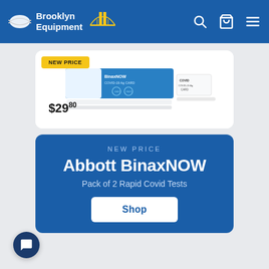Brooklyn Equipment
[Figure (photo): Abbott BinaxNOW COVID-19 Ag card rapid test package with New Price badge and $29.80 price tag]
NEW PRICE
Abbott BinaxNOW
Pack of 2 Rapid Covid Tests
Shop